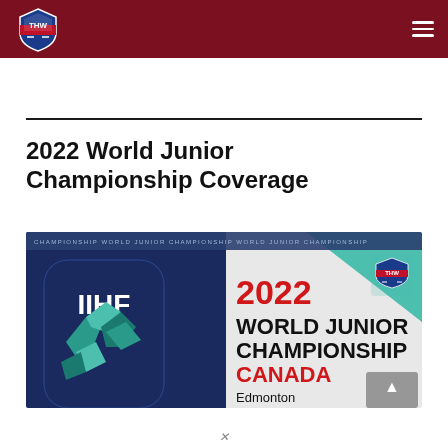THW Hockey Writers - navigation header
2022 World Junior Championship Coverage
[Figure (illustration): IIHF 2022 World Junior Championship Canada banner image with THW logo, showing IIHF logo on dark navy background with geometric hockey player silhouette, text reading '2022 WORLD JUNIOR CHAMPIONSHIP CANADA Edmonton' with teal and white design elements]